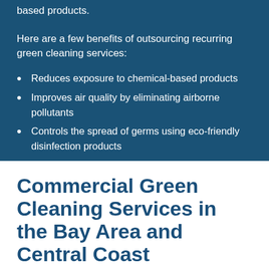based products.
Here are a few benefits of outsourcing recurring green cleaning services:
Reduces exposure to chemical-based products
Improves air quality by eliminating airborne pollutants
Controls the spread of germs using eco-friendly disinfection products
Commercial Green Cleaning Services in the Bay Area and Central Coast